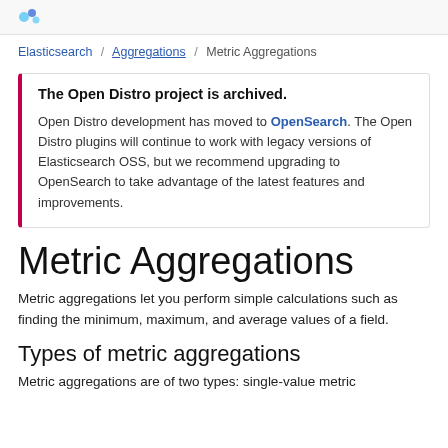Open Distro logo header
Elasticsearch / Aggregations / Metric Aggregations
The Open Distro project is archived.

Open Distro development has moved to OpenSearch. The Open Distro plugins will continue to work with legacy versions of Elasticsearch OSS, but we recommend upgrading to OpenSearch to take advantage of the latest features and improvements.
Metric Aggregations
Metric aggregations let you perform simple calculations such as finding the minimum, maximum, and average values of a field.
Types of metric aggregations
Metric aggregations are of two types: single-value metric